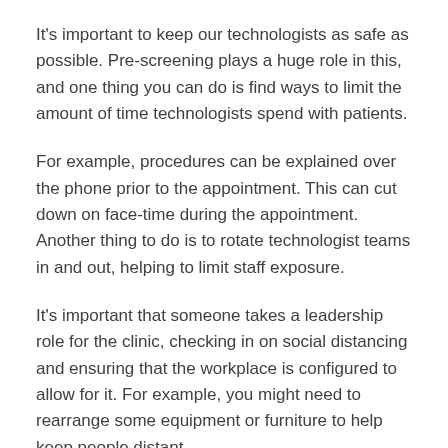It's important to keep our technologists as safe as possible. Pre-screening plays a huge role in this, and one thing you can do is find ways to limit the amount of time technologists spend with patients.
For example, procedures can be explained over the phone prior to the appointment. This can cut down on face-time during the appointment. Another thing to do is to rotate technologist teams in and out, helping to limit staff exposure.
It's important that someone takes a leadership role for the clinic, checking in on social distancing and ensuring that the workplace is configured to allow for it. For example, you might need to rearrange some equipment or furniture to help keep people distant.